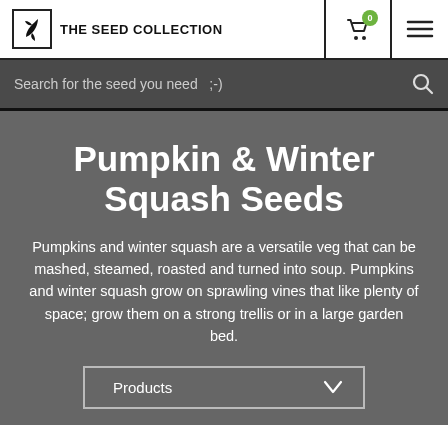THE SEED COLLECTION
Search for the seed you need  ;-)
Pumpkin & Winter Squash Seeds
Pumpkins and winter squash are a versatile veg that can be mashed, steamed, roasted and turned into soup. Pumpkins and winter squash grow on sprawling vines that like plenty of space; grow them on a strong trellis or in a large garden bed.
Products